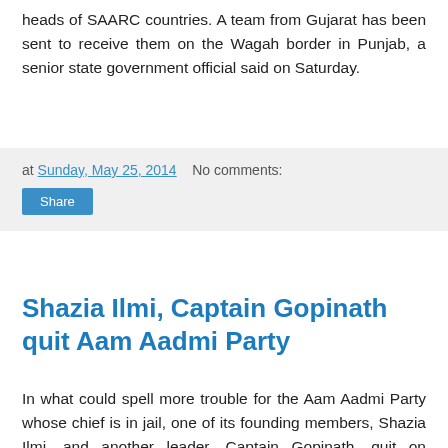heads of SAARC countries. A team from Gujarat has been sent to receive them on the Wagah border in Punjab, a senior state government official said on Saturday.
at Sunday, May 25, 2014   No comments:
Share
Shazia Ilmi, Captain Gopinath quit Aam Aadmi Party
In what could spell more trouble for the Aam Aadmi Party whose chief is in jail, one of its founding members, Shazia Ilmi, and another leader, Captain Gopinath, quit on Saturday. While announcing her resignation, Ilmi told reporters today that there was a lack of democracy within the party. "There is lack of inner party democracy within the Aam Aadmi Party. The party which talks about 'Swaraj' has failed to apply it within the party," Ilmi said at a press conference. Accusing the party of marginalising her, Ilmi said, "We fi...